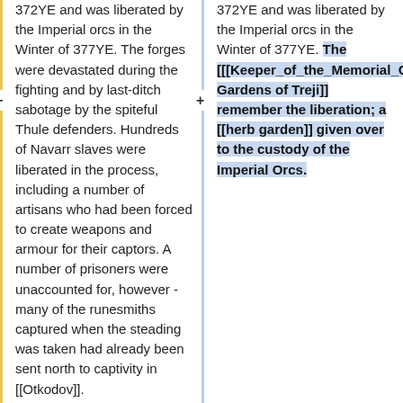372YE and was liberated by the Imperial orcs in the Winter of 377YE. The forges were devastated during the fighting and by last-ditch sabotage by the spiteful Thule defenders. Hundreds of Navarr slaves were liberated in the process, including a number of artisans who had been forced to create weapons and armour for their captors. A number of prisoners were unaccounted for, however - many of the runesmiths captured when the steading was taken had already been sent north to captivity in [[Otkodov]].
372YE and was liberated by the Imperial orcs in the Winter of 377YE. The [[[Keeper_of_the_Memorial_Gardens_of_Treji|Memoiral Gardens of Treji]] remember the liberation; a [[herb garden]] given over to the custody of the Imperial Orcs.